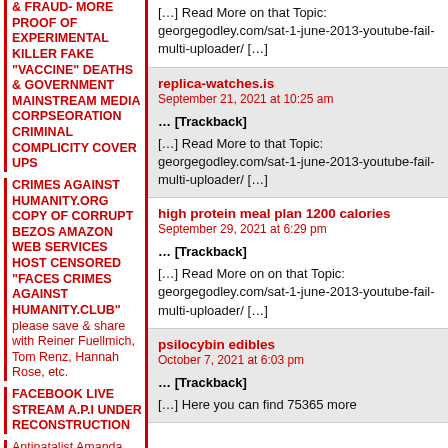& FRAUD- MORE PROOF OF EXPERIMENTAL KILLER FAKE "VACCINE" DEATHS & GOVERNMENT MAINSTREAM MEDIA CORPSEORATION CRIMINAL COMPLICITY COVER UPS
CRIMES AGAINST HUMANITY.ORG COPY OF CORRUPT BEZOS AMAZON WEB SERVICES HOST CENSORED "FACES CRIMES AGAINST HUMANITY.CLUB" please save & share with Reiner Fuellmich, Tom Renz, Hannah Rose, etc.
FACEBOOK LIVE STREAM A.P.I UNDER RECONSTRUCTION
Antinatalist Amanda
[…] Read More on that Topic: georgegodley.com/sat-1-june-2013-youtube-fail-multi-uploader/ […]
replica-watches.is
September 21, 2021 at 10:25 am
… [Trackback]
[…] Read More to that Topic: georgegodley.com/sat-1-june-2013-youtube-fail-multi-uploader/ […]
high protein meal plan 1200 calories
September 29, 2021 at 6:29 pm
… [Trackback]
[…] Read More on on that Topic: georgegodley.com/sat-1-june-2013-youtube-fail-multi-uploader/ […]
psilocybin edibles
October 7, 2021 at 6:03 pm
… [Trackback]
[…] Here you can find 75365 more